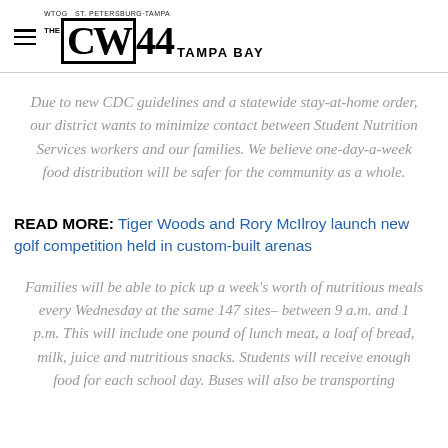WTOG ST. PETERSBURG·TAMPA — THE CW44 TAMPA BAY
Due to new CDC guidelines and a statewide stay-at-home order, our district wants to minimize contact between Student Nutrition Services workers and our families. We believe one-day-a-week food distribution will be safer for the community as a whole.
READ MORE: Tiger Woods and Rory McIlroy launch new golf competition held in custom-built arenas
Families will be able to pick up a week's worth of nutritious meals every Wednesday at the same 147 sites– between 9 a.m. and 1 p.m. This will include one pound of lunch meat, a loaf of bread, milk, juice and nutritious snacks. Students will receive enough food for each school day. Buses will also be transporting